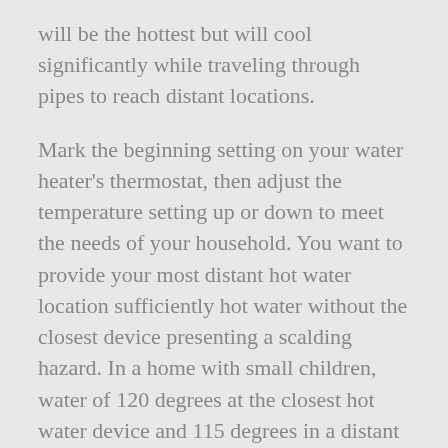will be the hottest but will cool significantly while traveling through pipes to reach distant locations.
Mark the beginning setting on your water heater's thermostat, then adjust the temperature setting up or down to meet the needs of your household. You want to provide your most distant hot water location sufficiently hot water without the closest device presenting a scalding hazard. In a home with small children, water of 120 degrees at the closest hot water device and 115 degrees in a distant bathroom is a good choice.
Reconnect the power to your water heater and wait several hours, then recheck the water temperature. Adjust the settings as needed to achieve the temperature desired. Mark the new thermostat